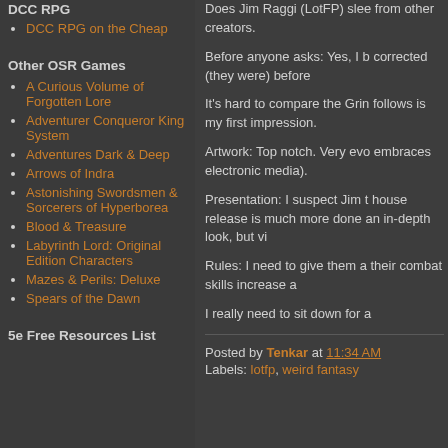DCC RPG
DCC RPG on the Cheap
Other OSR Games
A Curious Volume of Forgotten Lore
Adventurer Conqueror King System
Adventures Dark & Deep
Arrows of Indra
Astonishing Swordsmen & Sorcerers of Hyperborea
Blood & Treasure
Labyrinth Lord: Original Edition Characters
Mazes & Perils: Deluxe
Spears of the Dawn
5e Free Resources List
Does Jim Raggi (LotFP) slee from other creators.
Before anyone asks: Yes, I b corrected (they were) before
It's hard to compare the Grin follows is my first impression.
Artwork: Top notch. Very evo embraces electronic media).
Presentation: I suspect Jim t house release is much more done an in-depth look, but vi
Rules: I need to give them a their combat skills increase a
I really need to sit down for a
Posted by Tenkar at 11:34 AM
Labels: lotfp, weird fantasy